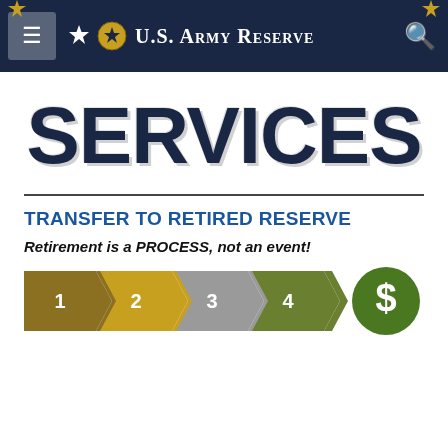U.S. Army Reserve
SERVICES
TRANSFER TO RETIRED RESERVE
Retirement is a PROCESS, not an event!
[Figure (infographic): Process flow diagram with 4 numbered chevron/arrow steps (1, 2, 3, 4) in gold/dark gold/gray/olive green colors, followed by a green dollar sign circle, representing the retirement transfer process steps.]